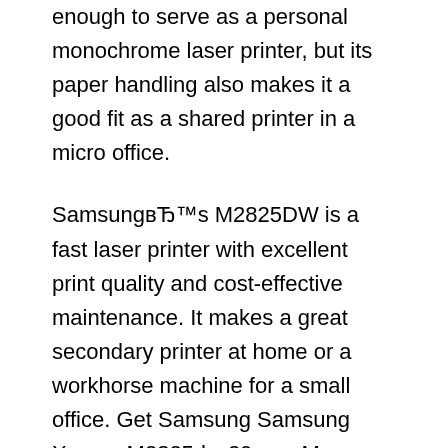enough to serve as a personal monochrome laser printer, but its paper handling also makes it a good fit as a shared printer in a micro office.
SamsungвЂ™s M2825DW is a fast laser printer with excellent print quality and cost-effective maintenance. It makes a great secondary printer at home or a workhorse machine for a small office. Get Samsung Samsung Xpress M2825dw 29ppm Mono Laser Printer SLM2825DW Printer User's Manual. Get all Samsung manuals!
Samsung SL-M2825DW Pdf User Manuals. View online or download Samsung SL-M2825DW User Manual, Installation Manual 24/08/2017В В· Samsung Printer Xpress M2825DW utilizes 600 MHz chip along with 128 MB memory that could give you the print outputs quickly with print speed as 29 pages a few minutes. This particular printer utilized Cortex-A5 chip that...